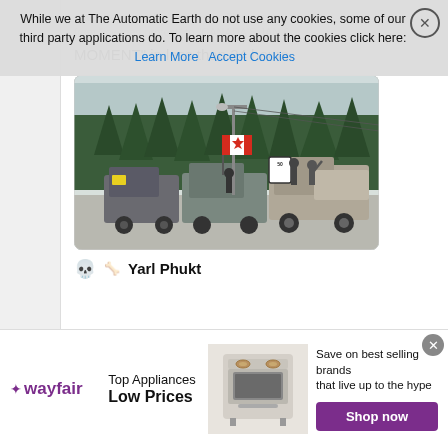While we at The Automatic Earth do not use any cookies, some of our third party applications do. To learn more about the cookies click here: Learn More  Accept Cookies
MOMENT" in less than 24 hours.
[Figure (photo): Outdoor winter protest scene showing people standing on and around pickup trucks on a snowy road, with someone holding a large Canadian flag, snow-covered evergreen trees in background, and a 50 km/h speed limit sign visible.]
Yarl Phukt
[Figure (other): Wayfair advertisement banner: Top Appliances, Low Prices. Save on best selling brands that live up to the hype. Shop now button.]